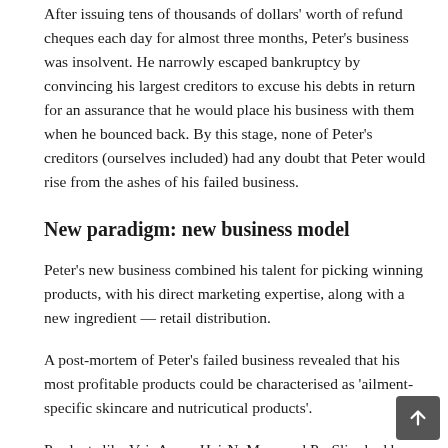After issuing tens of thousands of dollars' worth of refund cheques each day for almost three months, Peter's business was insolvent. He narrowly escaped bankruptcy by convincing his largest creditors to excuse his debts in return for an assurance that he would place his business with them when he bounced back. By this stage, none of Peter's creditors (ourselves included) had any doubt that Peter would rise from the ashes of his failed business.
New paradigm: new business model
Peter's new business combined his talent for picking winning products, with his direct marketing expertise, along with a new ingredient — retail distribution.
A post-mortem of Peter's failed business revealed that his most profitable products could be characterised as 'ailment-specific skincare and nutricutical products'.
Products like VeinAway, HairNoMore and ProSlim had been consistent performers. Even with no advertisements on television, Peter was receiving a